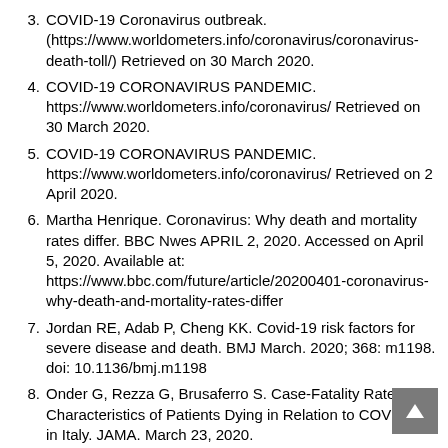3. COVID-19 Coronavirus outbreak. (https://www.worldometers.info/coronavirus/coronavirus-death-toll/) Retrieved on 30 March 2020.
4. COVID-19 CORONAVIRUS PANDEMIC. https://www.worldometers.info/coronavirus/ Retrieved on 30 March 2020.
5. COVID-19 CORONAVIRUS PANDEMIC. https://www.worldometers.info/coronavirus/ Retrieved on 2 April 2020.
6. Martha Henrique. Coronavirus: Why death and mortality rates differ. BBC Nwes APRIL 2, 2020. Accessed on April 5, 2020. Available at: https://www.bbc.com/future/article/20200401-coronavirus-why-death-and-mortality-rates-differ
7. Jordan RE, Adab P, Cheng KK. Covid-19 risk factors for severe disease and death. BMJ March. 2020; 368: m1198. doi: 10.1136/bmj.m1198
8. Onder G, Rezza G, Brusaferro S. Case-Fatality Rate and Characteristics of Patients Dying in Relation to COVID-19 in Italy. JAMA. March 23, 2020. doi:10.1001/jama.2020.4683